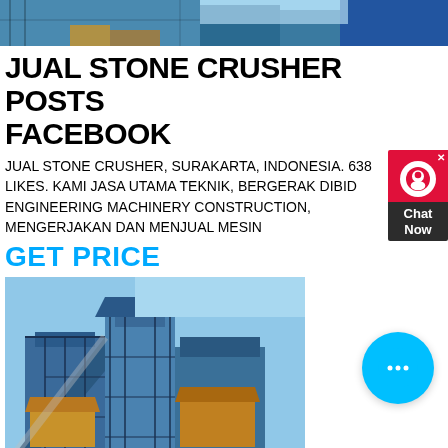[Figure (photo): Top portion of industrial stone crusher machinery against blue sky background]
JUAL STONE CRUSHER POSTS FACEBOOK
JUAL STONE CRUSHER, SURAKARTA, INDONESIA. 638 LIKES. KAMI JASA UTAMA TEKNIK, BERGERAK DIBID ENGINEERING MACHINERY CONSTRUCTION, MENGERJAKAN DAN MENJUAL MESIN
GET PRICE
[Figure (photo): Large industrial stone crusher plant machinery, blue colored, with scaffolding and conveyor structures]
HARGA STONE CRUSHER PLANT